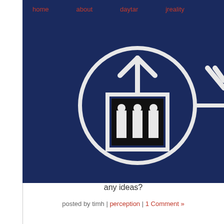home | about | daytar | jreality
[Figure (photo): Dark navy blue background with a white circular icon showing a square containing three vertical bars with dots (resembling an elevator sign), with an upward arrow above the square. To the right, partial view of another white icon on the same dark blue background.]
any ideas?
posted by timh | perception | 1 Comment »